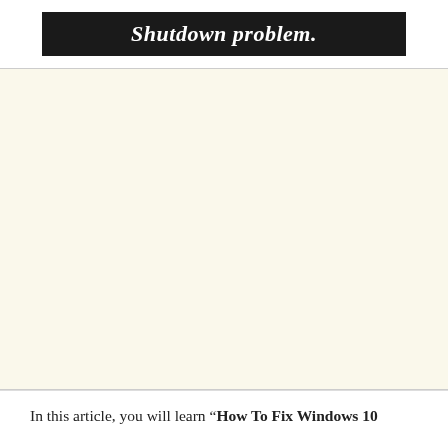[Figure (other): Black banner with bold italic white text reading 'Shutdown problem.']
In this article, you will learn "How To Fix Windows 10